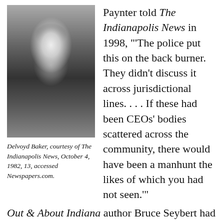[Figure (photo): Black and white newspaper photograph of Delvoyd Baker, a young person smiling, wearing a dark jacket with white collar.]
Delvoyd Baker, courtesy of The Indianapolis News, October 4, 1982, 13, accessed Newspapers.com.
Paynter told The Indianapolis News in 1998, "'The police put this on the back burner. They didn't discuss it across jurisdictional lines. . . . If these had been CEOs' bodies scattered across the community, there would have been a manhunt the likes of which you had not seen.'" Out & About Indiana author Bruce Seybert had a